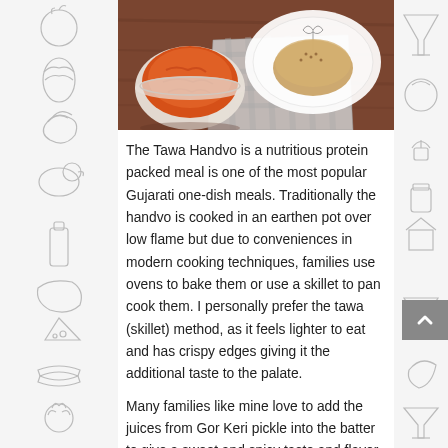[Figure (photo): Overhead photo of Tawa Handvo dish: a bowl of orange-red tomato chutney/sauce on a wooden table alongside what appears to be a flat bread/pancake on a decorative plate with a checkered cloth]
The Tawa Handvo is a nutritious protein packed meal is one of the most popular Gujarati one-dish meals. Traditionally the handvo is cooked in an earthen pot over low flame but due to conveniences in modern cooking techniques, families use ovens to bake them or use a skillet to pan cook them. I personally prefer the tawa (skillet) method, as it feels lighter to eat and has crispy edges giving it the additional taste to the palate.
Many families like mine love to add the juices from Gor Keri pickle into the batter to give a sweet and spicy taste and flavor to the finished dish. Serve Tawa Handvo lentil skillet pancakes along with Gor Keri pickle or with Gor (jaggery) and homemade butter for breakfast or a weeknight dinner.